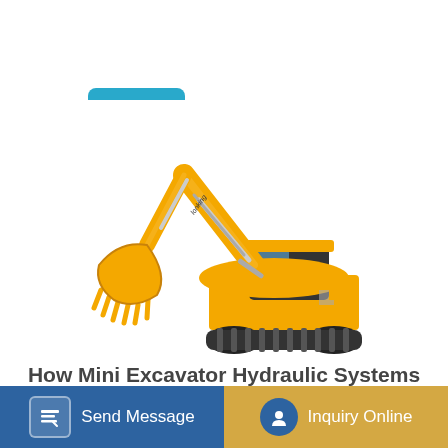Learn More
[Figure (photo): Yellow Lonking hydraulic excavator with crawler tracks, shown in profile view with boom and bucket raised]
How Mini Excavator Hydraulic Systems Work
Send Message
Inquiry Online